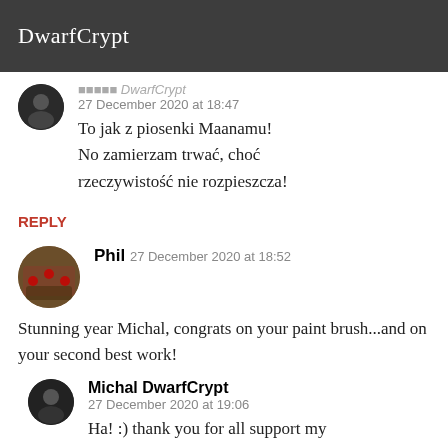DwarfCrypt
[Figure (photo): Circular avatar of user, dark colored image, partially cropped at top]
27 December 2020 at 18:47
To jak z piosenki Maanamu!
No zamierzam trwać, choć rzeczywistość nie rozpieszcza!
REPLY
[Figure (photo): Circular avatar of Phil, colorful image showing people/figures]
Phil  27 December 2020 at 18:52
Stunning year Michal, congrats on your paint brush...and on your second best work!
[Figure (photo): Circular avatar of Michal DwarfCrypt, dark image]
Michal DwarfCrypt
27 December 2020 at 19:06
Ha! :) thank you for all support my friend!